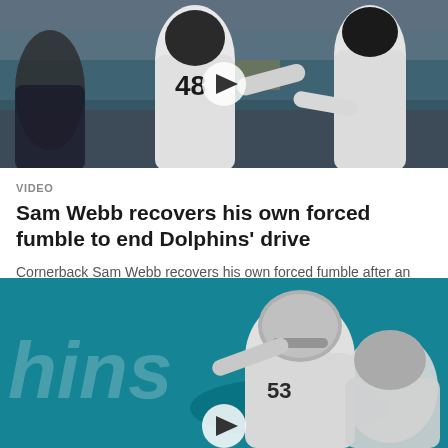[Figure (photo): Two football players in white Raiders uniforms, number 48 visible, celebrating or interacting on field with teal stadium background. Play button overlay visible.]
VIDEO
Sam Webb recovers his own forced fumble to end Dolphins' drive
Cornerback Sam Webb recovers his own forced fumble after an impressive tackle during the second quarter against the Dolphins.
[Figure (photo): Football players in Raiders uniforms tackling a Dolphins player on field with teal 'hins' (Dolphins) banner in background. Play button overlay at bottom center.]